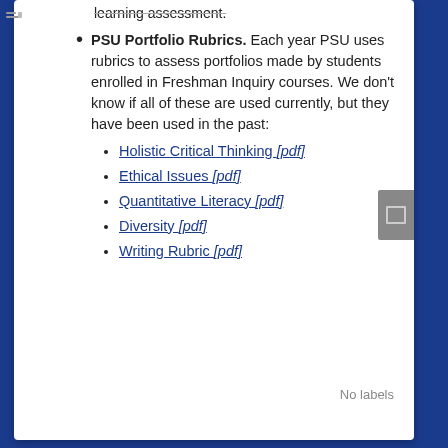PSU Portfolio Rubrics. Each year PSU uses rubrics to assess portfolios made by students enrolled in Freshman Inquiry courses. We don't know if all of these are used currently, but they have been used in the past:
Holistic Critical Thinking [pdf]
Ethical Issues [pdf]
Quantitative Literacy [pdf]
Diversity [pdf]
Writing Rubric [pdf]
No labels